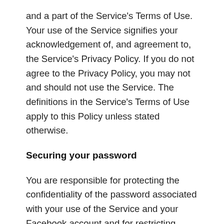and a part of the Service's Terms of Use. Your use of the Service signifies your acknowledgement of, and agreement to, the Service's Privacy Policy. If you do not agree to the Privacy Policy, you may not and should not use the Service. The definitions in the Service's Terms of Use apply to this Policy unless stated otherwise.
Securing your password
You are responsible for protecting the confidentiality of the password associated with your use of the Service and your Facebook account and for restricting access to your computer while logged into the Service. You agree that you will be responsible for any and all actions taken using your login credentials.